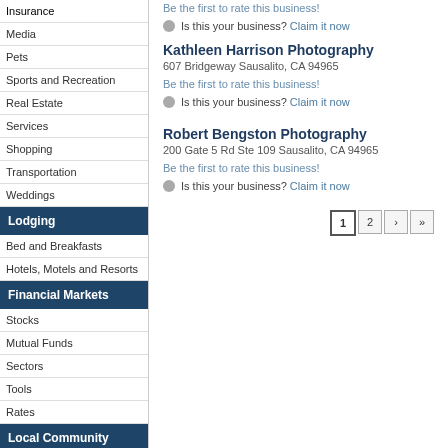Insurance
Media
Pets
Sports and Recreation
Real Estate
Services
Shopping
Transportation
Weddings
Lodging
Bed and Breakfasts
Hotels, Motels and Resorts
Financial Markets
Stocks
Mutual Funds
Sectors
Tools
Rates
Local Community
About Sausalito
History of Sausalito
Be the first to rate this business!
Is this your business? Claim it now
Kathleen Harrison Photography
607 Bridgeway Sausalito, CA 94965
Be the first to rate this business!
Is this your business? Claim it now
Robert Bengston Photography
200 Gate 5 Rd Ste 109 Sausalito, CA 94965
Be the first to rate this business!
Is this your business? Claim it now
1 2 > >>